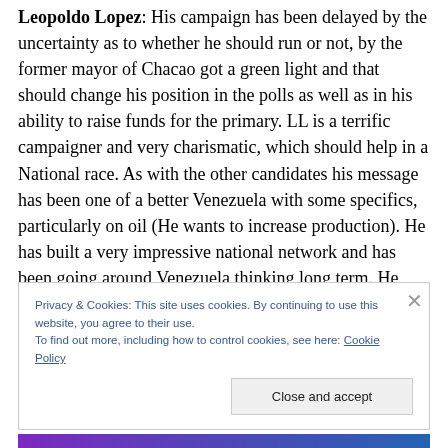Leopoldo Lopez: His campaign has been delayed by the uncertainty as to whether he should run or not, by the former mayor of Chacao got a green light and that should change his position in the polls as well as in his ability to raise funds for the primary. LL is a terrific campaigner and very charismatic, which should help in a National race. As with the other candidates his message has been one of a better Venezuela with some specifics, particularly on oil (He wants to increase production). He has built a very impressive national network and has been going around Venezuela thinking long term. He probably has the largest
Privacy & Cookies: This site uses cookies. By continuing to use this website, you agree to their use.
To find out more, including how to control cookies, see here: Cookie Policy